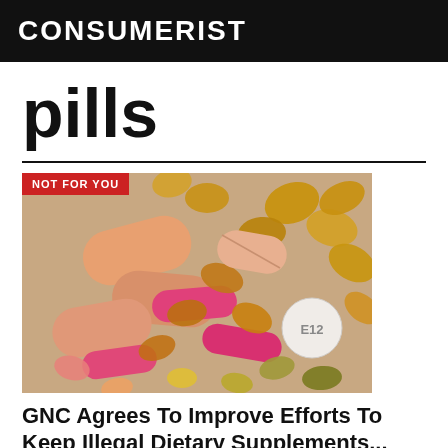CONSUMERIST
pills
[Figure (photo): A large pile of assorted pills and capsules in various colors including pink, orange, peach, yellow, green, and gold/amber gel caps. A white round tablet marked 'E12' is visible. A red banner overlay reads 'NOT FOR YOU'.]
GNC Agrees To Improve Efforts To Keep Illegal Dietary Supplements...